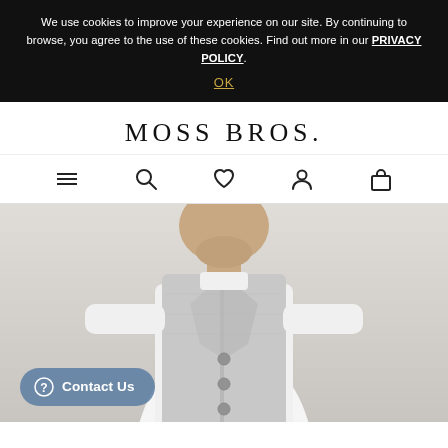We use cookies to improve your experience on our site. By continuing to browse, you agree to the use of these cookies. Find out more in our PRIVACY POLICY.
OK
MOSS BROS.
[Figure (infographic): Navigation icon bar with hamburger menu, search, heart/wishlist, person/account, and bag/cart icons]
[Figure (photo): Man wearing a light grey suit waistcoat over a white dress shirt, cropped at chin level, light grey background. Contact Us button overlay in bottom left.]